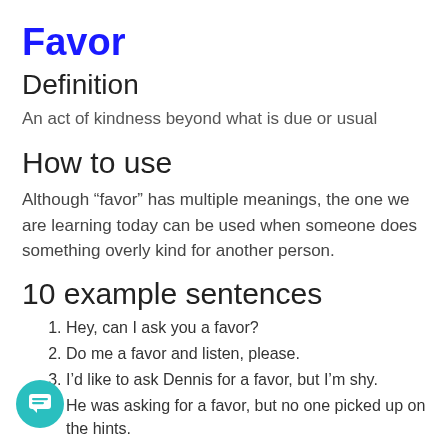Favor
Definition
An act of kindness beyond what is due or usual
How to use
Although “favor” has multiple meanings, the one we are learning today can be used when someone does something overly kind for another person.
10 example sentences
Hey, can I ask you a favor?
Do me a favor and listen, please.
I’d like to ask Dennis for a favor, but I’m shy.
He was asking for a favor, but no one picked up on the hints.
I did you a favor, trust me.
He broke his moral code, just to do you a favor. I’d say you owe him a lot.
James would be doing me a favor by picking the...